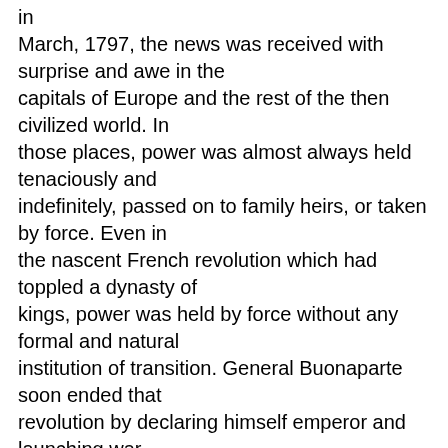in March, 1797, the news was received with surprise and awe in the capitals of Europe and the rest of the then civilized world. In those places, power was almost always held tenaciously and indefinitely, passed on to family heirs, or taken by force. Even in the nascent French revolution which had toppled a dynasty of kings, power was held by force without any formal and natural institution of transition. General Buonaparte soon ended that revolution by declaring himself emperor and launching war against his neighbors.
If we today still hold Mr. Washington in heroic esteem, as he was by his fellow citizens in his own time, it might be useful to also remember how great was his contemporary international esteem when he turned down a royal title or continued power in his own republic...